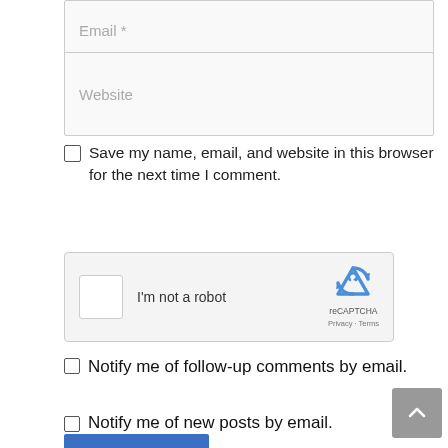Email *
Website
Save my name, email, and website in this browser for the next time I comment.
[Figure (other): reCAPTCHA widget with checkbox labeled 'I'm not a robot' and reCAPTCHA logo with Privacy - Terms links]
Notify me of follow-up comments by email.
Notify me of new posts by email.